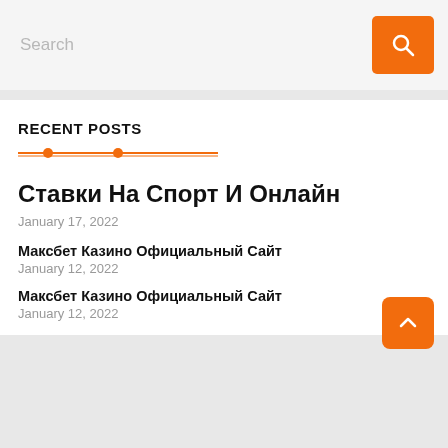[Figure (screenshot): Search bar with orange search button]
RECENT POSTS
Ставки На Спорт И Онлайн
January 17, 2022
Максбет Казино Официальный Сайт
January 12, 2022
Максбет Казино Официальный Сайт
January 12, 2022